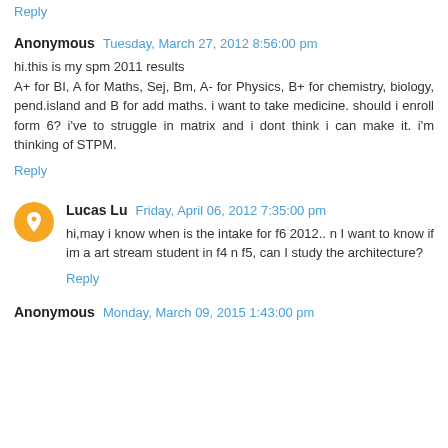Reply
Anonymous  Tuesday, March 27, 2012 8:56:00 pm
hi.this is my spm 2011 results
A+ for BI, A for Maths, Sej, Bm, A- for Physics, B+ for chemistry, biology, pend.island and B for add maths. i want to take medicine. should i enroll form 6? i've to struggle in matrix and i dont think i can make it. i'm thinking of STPM.
Reply
Lucas Lu  Friday, April 06, 2012 7:35:00 pm
hi,may i know when is the intake for f6 2012.. n I want to know if im a art stream student in f4 n f5, can I study the architecture?
Reply
Anonymous  Monday, March 09, 2015 1:43:00 pm